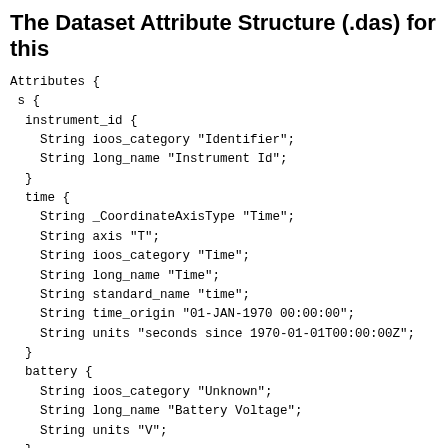The Dataset Attribute Structure (.das) for this
Attributes {
 s {
  instrument_id {
    String ioos_category "Identifier";
    String long_name "Instrument Id";
  }
  time {
    String _CoordinateAxisType "Time";
    String axis "T";
    String ioos_category "Time";
    String long_name "Time";
    String standard_name "time";
    String time_origin "01-JAN-1970 00:00:00";
    String units "seconds since 1970-01-01T00:00:00Z";
  }
  battery {
    String ioos_category "Unknown";
    String long_name "Battery Voltage";
    String units "V";
  }
  clock_date {
    String ioos_category "Time";
    String long_name "Clock Date";